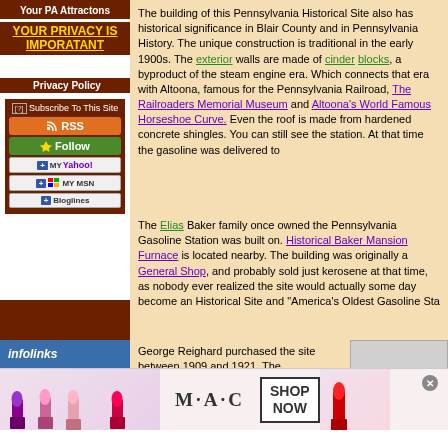Your PA Attractons
YOUR PRIVACY IS IMPORATANT
Privacy Policy
[?] Subscribe To This Site
RSS
Follow
+ MY YAHOO!
+ MY MSN
+ Bloglines
The building of this Pennsylvania Historical Site also has historical significance in Blair County and in Pennsylvania History. The unique construction is traditional in the early 1900s. The exterior walls are made of cinder blocks, a byproduct of the steam engine era. Which connects that era with Altoona, famous for the Pennsylvania Railroad, The Railroaders Memorial Museum and Altoona's World Famous Horseshoe Curve. Even the roof is made from hardened concrete shingles. You can still see the station. At that time the gasoline was delivered to the station.
The Elias Baker family once owned the Pennsylvania Gasoline Station was built on. Historical Baker Mansion Furnace is located nearby. The building was originally a General Shop, and probably sold just kerosene at that time, as nobody ever realized the site would actually some day become an Historical Site and "America's Oldest Gasoline Station".
George Reighard purchased the site between 1909 and 1921. The
[Figure (photo): MAC cosmetics advertisement showing lipsticks with SHOP NOW text]
infolinks